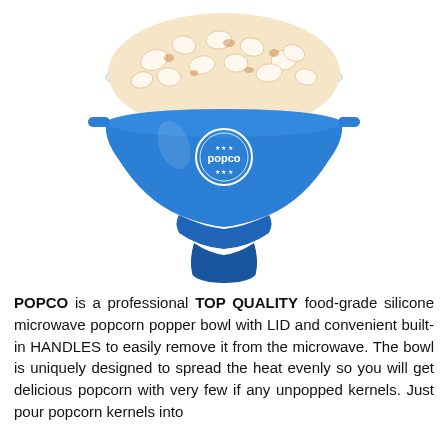[Figure (photo): A blue silicone collapsible microwave popcorn popper bowl by Popco brand, filled with popped popcorn and a clear lid, photographed on a white background. The bowl has built-in handles and tapers to a narrow base.]
POPCO is a professional TOP QUALITY food-grade silicone microwave popcorn popper bowl with LID and convenient built-in HANDLES to easily remove it from the microwave. The bowl is uniquely designed to spread the heat evenly so you will get delicious popcorn with very few if any unpopped kernels. Just pour popcorn kernels into